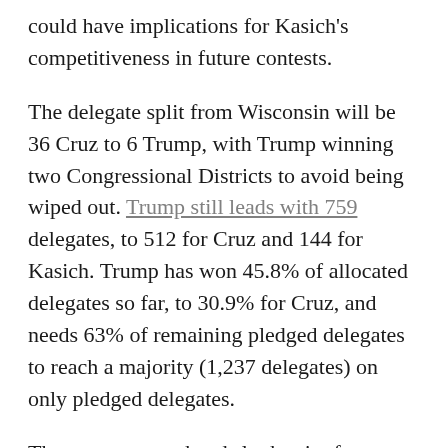could have implications for Kasich's competitiveness in future contests.
The delegate split from Wisconsin will be 36 Cruz to 6 Trump, with Trump winning two Congressional Districts to avoid being wiped out. Trump still leads with 759 delegates, to 512 for Cruz and 144 for Kasich. Trump has won 45.8% of allocated delegates so far, to 30.9% for Cruz, and needs 63% of remaining pledged delegates to reach a majority (1,237 delegates) on only pledged delegates.
The next two weekends look grim for Trump with conventions in Colorado and Wyoming to decide 42 delegates; Cruz's superior organisation has helped him perform very strongly at caucuses and conventions. However, New York on the 19 April is likely to be good for Trump, who has over 50% in